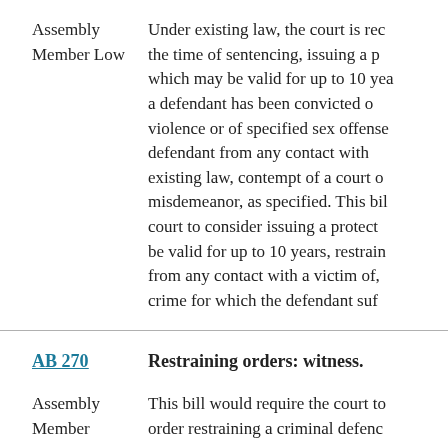Assembly Member Low
Under existing law, the court is rec the time of sentencing, issuing a p which may be valid for up to 10 yea a defendant has been convicted o violence or of specified sex offense defendant from any contact with existing law, contempt of a court o misdemeanor, as specified. This bil court to consider issuing a protect be valid for up to 10 years, restrain from any contact with a victim of, crime for which the defendant suf
AB 270
Restraining orders: witness.
Assembly Member
This bill would require the court to order restraining a criminal defenc